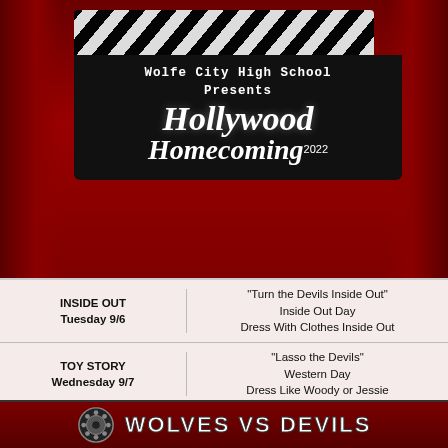Wolfe City High School Presents Hollywood Homecoming 2022
| Movie / Day | Theme / Dress |
| --- | --- |
| INSIDE OUT
Tuesday 9/6 | "Turn the Devils Inside Out"
Inside Out Day
Dress With Clothes Inside Out |
| TOY STORY
Wednesday 9/7 | "Lasso the Devils"
Western Day
Dress Like Woody or Jessie |
| JAWS
Thursday 9/8 | "Attack the Devils"
Beach Day
Dress in Beach Vacation Clothes |
| REMEMBER THE WOLVES
Friday 9/9 | "Overpower the Devils"
Wolves Training Camp Day
Dress in WC Spirit Clothes |
WOLVES VS DEVILS